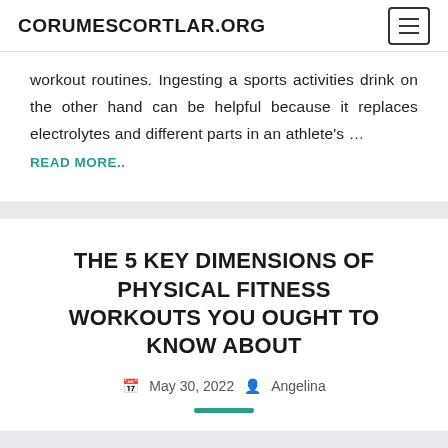CORUMESCORTLAR.ORG
workout routines. Ingesting a sports activities drink on the other hand can be helpful because it replaces electrolytes and different parts in an athlete's …
READ MORE..
THE 5 KEY DIMENSIONS OF PHYSICAL FITNESS WORKOUTS YOU OUGHT TO KNOW ABOUT
May 30, 2022  Angelina